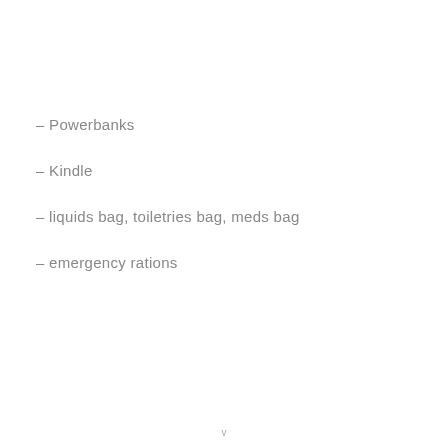– Powerbanks
– Kindle
– liquids bag, toiletries bag, meds bag
– emergency rations
v